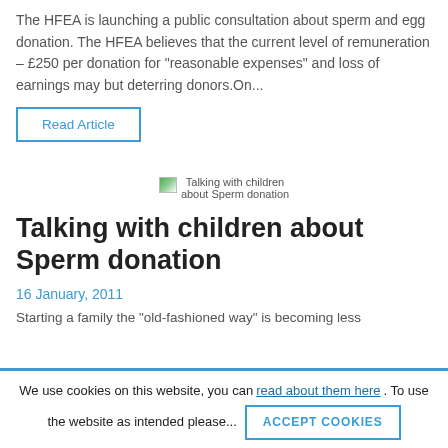The HFEA is launching a public consultation about sperm and egg donation. The HFEA believes that the current level of remuneration – £250 per donation for "reasonable expenses" and loss of earnings may but deterring donors.On...
Read Article
[Figure (photo): Broken/placeholder image for 'Talking with children about Sperm donation']
Talking with children about Sperm donation
16 January, 2011
Starting a family the "old-fashioned way" is becoming less...
We use cookies on this website, you can read about them here. To use the website as intended please... ACCEPT COOKIES